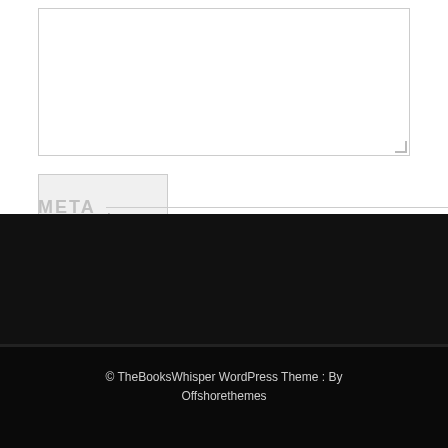[Figure (screenshot): A textarea input box with a resize handle in the bottom-right corner]
[Figure (screenshot): A submit button labeled 'Invia' with light gray background]
META
© TheBooksWhisper WordPress Theme : By Offshorethemes